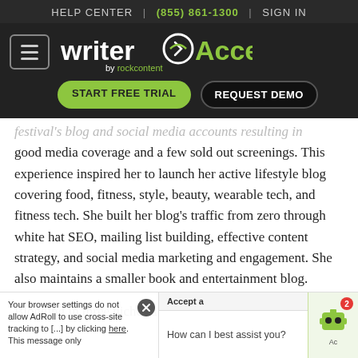HELP CENTER | (855) 861-1300 | SIGN IN
[Figure (logo): WriterAccess by rockcontent logo with hamburger menu, START FREE TRIAL and REQUEST DEMO buttons on dark background]
festival's blog and social media accounts resulting in good media coverage and a few sold out screenings. This experience inspired her to launch her active lifestyle blog covering food, fitness, style, beauty, wearable tech, and fitness tech. She built her blog's traffic from zero through white hat SEO, mailing list building, effective content strategy, and social media marketing and engagement. She also maintains a smaller book and entertainment blog.
Blogging in three niches allowed her to explore all
Your browser settings do not allow AdRoll to use cross-site tracking to [...] by clicking here. This message only [...] Accept a [...] How can I best assist you? [...] Ac [...]